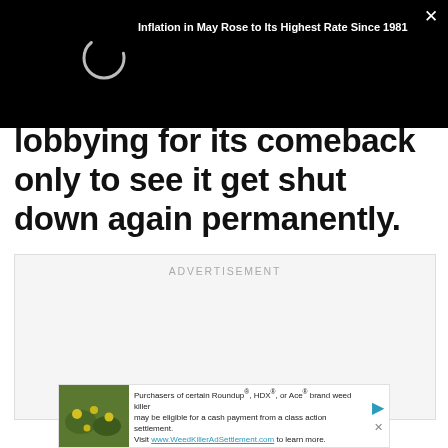[Figure (screenshot): Black overlay bar with loading spinner circle and notification headline text reading 'Inflation in May Rose to Its Highest Rate Since 1981', and a white X close button in top right corner]
lobbying for its comeback only to see it get shut down again permanently.
[Figure (other): Advertisement placeholder box with light grey background and 'ADVERTISEMENT' label in grey text]
[Figure (infographic): Bottom banner advertisement for Roundup, HDX, or Ace brand weed killer class action settlement, with green dandelion image on left and text directing to www.WeedKillerAdSettlement.com]